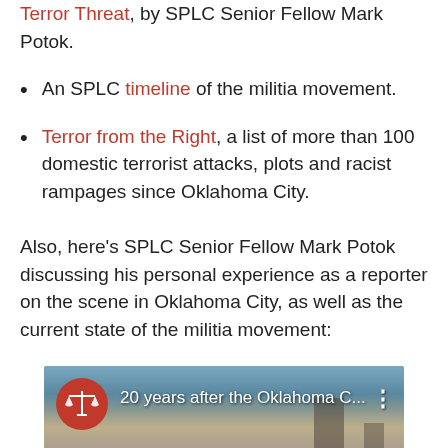Terror Threat, by SPLC Senior Fellow Mark Potok.
An SPLC timeline of the militia movement.
Terror from the Right, a list of more than 100 domestic terrorist attacks, plots and racist rampages since Oklahoma City.
Also, here's SPLC Senior Fellow Mark Potok discussing his personal experience as a reporter on the scene in Oklahoma City, as well as the current state of the militia movement:
[Figure (screenshot): YouTube video thumbnail showing '20 years after the Oklahoma C...' with SPLC logo (red circle with scales of justice) and a background image of a damaged building with smoke, with three-dot menu icon.]